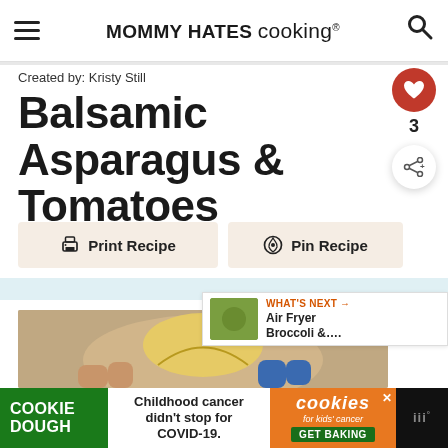MOMMY HATES cooking®
Created by: Kristy Still
Balsamic Asparagus & Tomatoes
Print Recipe
Pin Recipe
[Figure (screenshot): Heart/like button showing count of 3, and a share button]
[Figure (photo): Person holding a heart-shaped yellow object, partial recipe photo]
[Figure (screenshot): What's Next section showing Air Fryer Broccoli & ... with thumbnail]
COOKIE DOUGH  Childhood cancer didn't stop for COVID-19.  cookies for kids cancer  GET BAKING